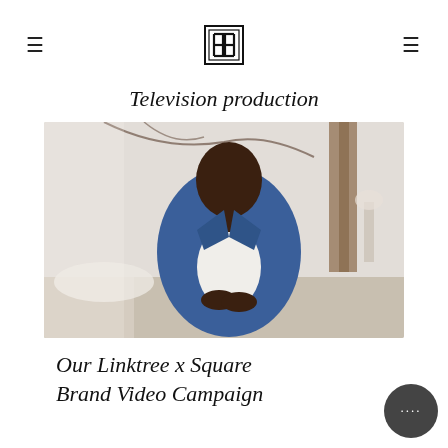≡  [logo]  ≡
Television production
[Figure (photo): A Black man in a blue blazer over a white shirt sits on a beige couch in a bright, airy loft-style interior with wooden beams and soft natural light. He is clean-shaven and bald, looking thoughtfully to his left, hands clasped in his lap.]
Our Linktree x Square Brand Video Campaign